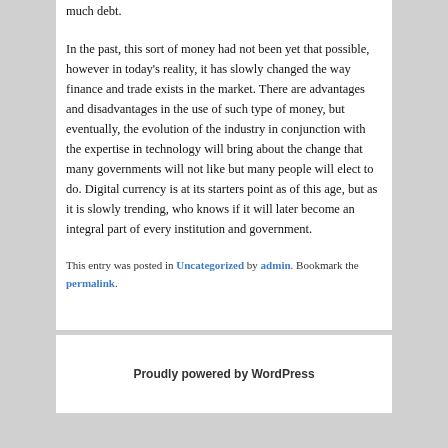much debt.
In the past, this sort of money had not been yet that possible, however in today's reality, it has slowly changed the way finance and trade exists in the market. There are advantages and disadvantages in the use of such type of money, but eventually, the evolution of the industry in conjunction with the expertise in technology will bring about the change that many governments will not like but many people will elect to do. Digital currency is at its starters point as of this age, but as it is slowly trending, who knows if it will later become an integral part of every institution and government.
This entry was posted in Uncategorized by admin. Bookmark the permalink.
Proudly powered by WordPress